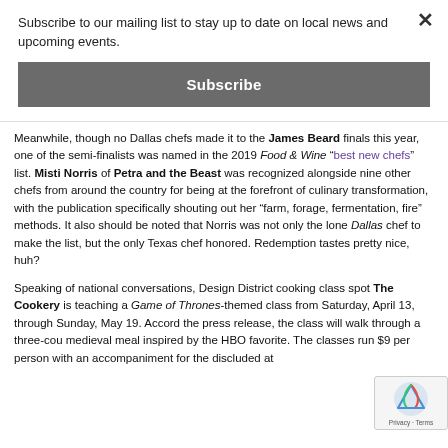Subscribe to our mailing list to stay up to date on local news and upcoming events.
Subscribe
Meanwhile, though no Dallas chefs made it to the James Beard finals this year, one of the semi-finalists was named in the 2019 Food & Wine "best new chefs" list. Misti Norris of Petra and the Beast was recognized alongside nine other chefs from around the country for being at the forefront of culinary transformation, with the publication specifically shouting out her “farm, forage, fermentation, fire” methods. It also should be noted that Norris was not only the lone Dallas chef to make the list, but the only Texas chef honored. Redemption tastes pretty nice, huh?
Speaking of national conversations, Design District cooking class spot The Cookery is teaching a Game of Thrones-themed class from Saturday, April 13, through Sunday, May 19. Accord the press release, the class will walk through a three-cou medieval meal inspired by the HBO favorite. The classes run $9 per person with an accompaniment for the discluded at